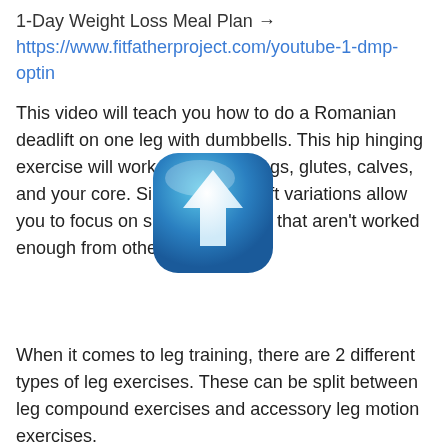1-Day Weight Loss Meal Plan →
https://www.fitfatherproject.com/youtube-1-dmp-optin
This video will teach you how to do a Romanian deadlift on one leg with dumbbells. This hip hinging exercise will work your hamstrings, glutes, calves, and your core. Single-leg deadlift variations allow you to focus on smaller muscles that aren't worked enough from other exercises.
[Figure (illustration): A blue 3D rounded square icon with a white upward arrow, overlaid on the text.]
When it comes to leg training, there are 2 different types of leg exercises. These can be split between leg compound exercises and accessory leg motion exercises.
Main leg compound exercises include squats, deadlifts, and leg presses. They are exercises where you use a lot of weight and typically use two legs at once.